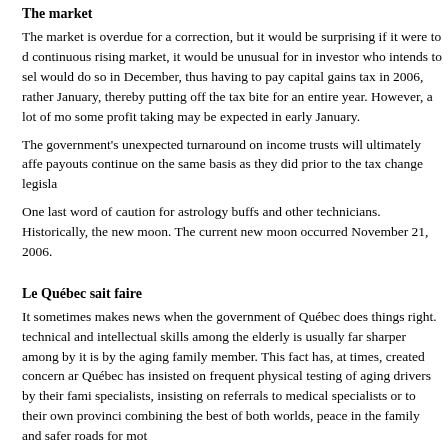The market
The market is overdue for a correction, but it would be surprising if it were to d... continuous rising market, it would be unusual for in investor who intends to sel... would do so in December, thus having to pay capital gains tax in 2006, rather ... January, thereby putting off the tax bite for an entire year. However, a lot of mo... some profit taking may be expected in early January.
The government's unexpected turnaround on income trusts will ultimately affe... payouts continue on the same basis as they did prior to the tax change legisla...
One last word of caution for astrology buffs and other technicians. Historically,... the new moon. The current new moon occurred November 21, 2006.
Le Québec sait faire
It sometimes makes news when the government of Québec does things right.... technical and intellectual skills among the elderly is usually far sharper among... by it is by the aging family member. This fact has, at times, created concern ar... Québec has insisted on frequent physical testing of aging drivers by their fami... specialists, insisting on referrals to medical specialists or to their own provinci... combining the best of both worlds, peace in the family and safer roads for mot...
Liberals and Immigration Policy